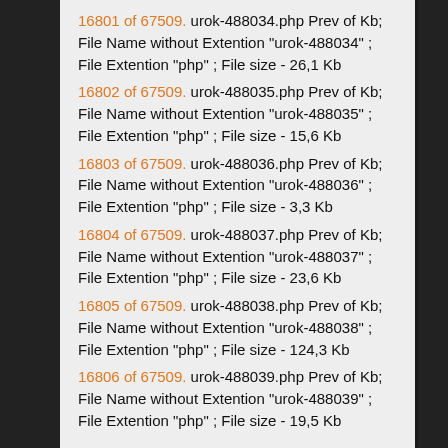16801 of 67509. urok-488034.php Prev of Kb; File Name without Extention "urok-488034" ; File Extention "php" ; File size - 26,1 Kb
16802 of 67509. urok-488035.php Prev of Kb; File Name without Extention "urok-488035" ; File Extention "php" ; File size - 15,6 Kb
16803 of 67509. urok-488036.php Prev of Kb; File Name without Extention "urok-488036" ; File Extention "php" ; File size - 3,3 Kb
16804 of 67509. urok-488037.php Prev of Kb; File Name without Extention "urok-488037" ; File Extention "php" ; File size - 23,6 Kb
16805 of 67509. urok-488038.php Prev of Kb; File Name without Extention "urok-488038" ; File Extention "php" ; File size - 124,3 Kb
16806 of 67509. urok-488039.php Prev of Kb; File Name without Extention "urok-488039" ; File Extention "php" ; File size - 19,5 Kb